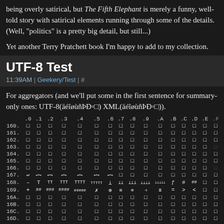being overly satirical, but The Fifth Elephant is merely a funny, well-told story with satirical elements running through some of the details. (Well, "politics" is a pretty big detail, but still...)
Yet another Terry Pratchett book I'm happy to add to my collection.
UTF-8 Test
11:39AM | Geekery/Test | #
For aggregators (and we'll put some in the first sentence for summary-only ones: UTF-8(äéîøùñÞÐ☐) XML(äéîøùñÞÐ☐)).
|   | .0 | .1 | .2 | .3 | .4 | .5 | .6 | .7 | .8 | .9 | .A | .B | .C | .D | .E | .F |
| --- | --- | --- | --- | --- | --- | --- | --- | --- | --- | --- | --- | --- | --- | --- | --- | --- |
| 160. | ☐ | ☐ | ☐ | ☐ | ☐ | ☐ | ☐ | ☐ | ☐ | ☐ | ☐ | ☐ | ☐ | ☐ | ☐ | ☐ |
| 161. | ☐ | ☐ | ☐ | ☐ | ☐ | ☐ | ☐ | ☐ | ☐ | ☐ | ☐ | ☐ | ☐ | ☐ | ☐ | ☐ |
| 162. | ☐ | ☐ | ☐ | ☐ | ☐ | ☐ | ☐ | ☐ | ☐ | ☐ | ☐ | ☐ | ☐ | ☐ | ☐ | ☐ |
| 163. | ☐ | ☐ | ☐ | ☐ | ☐ | ☐ | ☐ | ☐ | ☐ | ☐ | ☐ | ☐ | ☐ | ☐ | ☐ | ☐ |
| 164. | ☐ | ☐ | ☐ | ☐ | ☐ | ☐ | ☐ | ☐ | ☐ | ☐ | ☐ | ☐ | ☐ | ☐ | ☐ | ☐ |
| 165. | ☐ | ☐ | ☐ | ☐ | ☐ | ☐ | ☐ | ☐ | ☐ | ☐ | ☐ | ☐ | ☐ | ☐ | ☐ | ☐ |
| 166. | ☐ | ☐ | ☐ | ☐ | ☐ | ☐ | ☐ | ☐ | ☐ | ☐ | ☐ | ☐ | ☐ | ☐ | ☐ | ☐ |
| 167. | ↩ | ↩↪ | ↩↪ | ↩↙ | ↩↙ | ↩↙ | ↩↙ | ☐ | ☐ | ☐ | ☐ | ☐ | ☐ | ☐ | ☐ | ☐ |
| 168. | – | † | †† | ††† | †††† | ††††† | ⊥ | ⊥⊥ | ⊥⊥⊥ | ⊥⊥⊥⊥ | ⊥⊥⊥⊥⊥ | ƒ | # | ## | ☐ | ☐ |
| 169. | + | ## | ### | #### | ##### | ✗ | ⊕ | ⊕ | ⊠ | ⊠⊠ | ≡ | = | > | < | ☐ | ☐ |
| 16A. | ☐ | ☐ | ☐ | ☐ | ☐ | ☐ | ☐ | ☐ | ☐ | ☐ | ☐ | ☐ | ☐ | ☐ | ☐ | ☐ |
| 16B. | ☐ | ☐ | ☐ | ☐ | ☐ | ☐ | ☐ | ☐ | ☐ | ☐ | ☐ | ☐ | ☐ | ☐ | ☐ | ☐ |
| 16C. | ☐ | ☐ | ☐ | ☐ | ☐ | ☐ | ☐ | ☐ | ☐ | ☐ | ☐ | ☐ | ☐ | ☐ | ☐ | ☐ |
| 16D. | ☐ | ☐ | ☐ | ☐ | ☐ | ☐ | ☐ | ☐ | ☐ | ☐ | ☐ | ☐ | ☐ | ☐ | ☐ | ☐ |